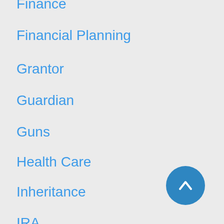Finance
Financial Planning
Grantor
Guardian
Guns
Health Care
Inheritance
IRA
Irrevocable Trust
Life Insurance
Living Will